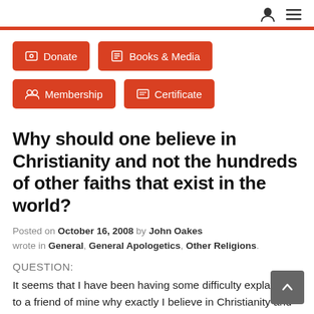Donate
Books & Media
Membership
Certificate
Why should one believe in Christianity and not the hundreds of other faiths that exist in the world?
Posted on October 16, 2008 by John Oakes wrote in General, General Apologetics, Other Religions.
QUESTION:
It seems that I have been having some difficulty explaining to a friend of mine why exactly I believe in Christianity and not the hundreds of other faiths that exist in the world, why our